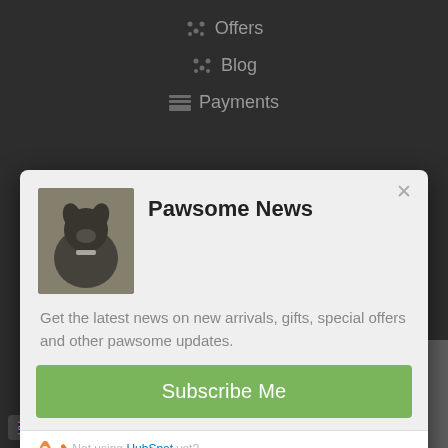Offers
Blog
Payments
[Figure (screenshot): Modal popup newsletter signup for 'Pawsome News' showing a black dog photo, description text, and a green Subscribe Me button with HubSpot branding]
Pawsome News
Get the latest news on new arrivals, gifts, special offers and other pawsome updates.
Subscribe Me
Not using HubSpot yet?
Secure Payments By:
PayPal
English